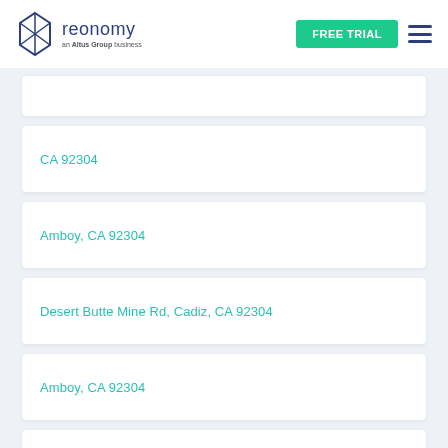reonomy an Altus Group business | FREE TRIAL
CA 92304
Amboy, CA 92304
Desert Butte Mine Rd, Cadiz, CA 92304
Amboy, CA 92304
CA 92304
Amboy, CA 92304